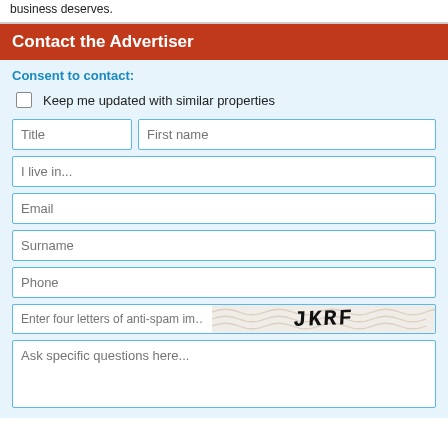business deserves.
Contact the Advertiser
Consent to contact:
Keep me updated with similar properties
Title | First name | I live in... | Email | Surname | Phone | Enter four letters of anti-spam image | Ask specific questions here...